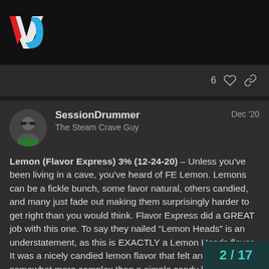VC logo header bar
6 (likes) (link icon)
SessionDrummer
The Steam Crave Guy
Dec '20
Lemon (Flavor Express) 3% (12-24-20) – Unless you've been living in a cave, you've heard of FE Lemon. Lemons can be a fickle bunch, some favor natural, others candied, and many just fade out making them surprisingly harder to get right than you would think. Flavor Express did a GREAT job with this one. To say they nailed “Lemon Heads” is an understatement, as this is EXACTLY a Lemon Heads flavor. It was a nicely candied lemon flavor that felt and tasted somewhat more complex than a simple candy lemon. Nicely sweet and tart, but never too much of either. No lemon pledge was present, and surprisingly this COULD be vaped solo. Plenty of high end s a few lower notes kept it interesting through
2/17